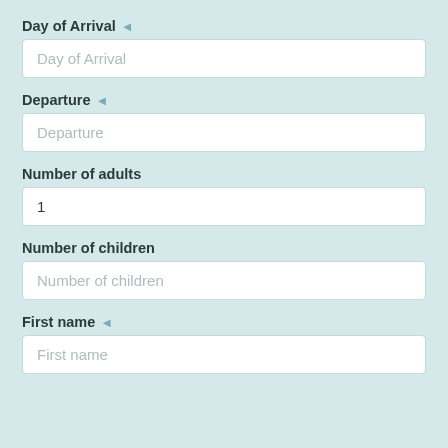Day of Arrival ◄
Day of Arrival
Departure ◄
Departure
Number of adults
1
Number of children
Number of children
First name ◄
First name